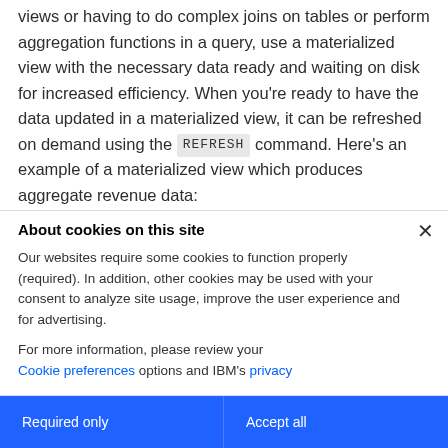views or having to do complex joins on tables or perform aggregation functions in a query, use a materialized view with the necessary data ready and waiting on disk for increased efficiency. When you're ready to have the data updated in a materialized view, it can be refreshed on demand using the REFRESH command. Here's an example of a materialized view which produces aggregate revenue data:
About cookies on this site
Our websites require some cookies to function properly (required). In addition, other cookies may be used with your consent to analyze site usage, improve the user experience and for advertising.
For more information, please review your Cookie preferences options and IBM's privacy
Required only
Accept all